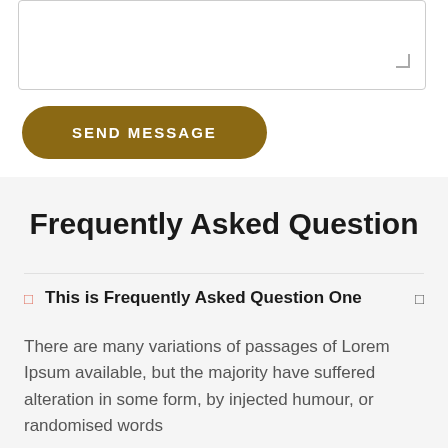[Figure (screenshot): A textarea input box with a resize handle in the bottom-right corner]
SEND MESSAGE
Frequently Asked Question
This is Frequently Asked Question One
There are many variations of passages of Lorem Ipsum available, but the majority have suffered alteration in some form, by injected humour, or randomised words